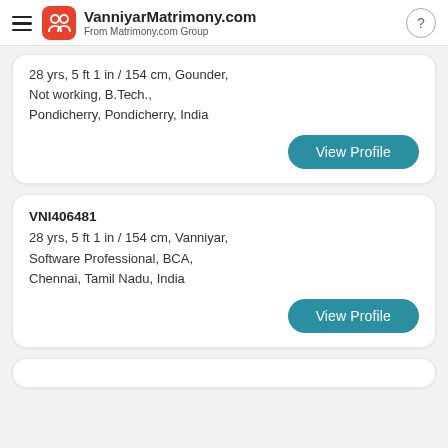VanniyarMatrimony.com
From Matrimony.com Group
28 yrs, 5 ft 1 in / 154 cm, Gounder,
Not working, B.Tech.,
Pondicherry, Pondicherry, India
View Profile
VNI406481
28 yrs, 5 ft 1 in / 154 cm, Vanniyar,
Software Professional, BCA,
Chennai, Tamil Nadu, India
View Profile